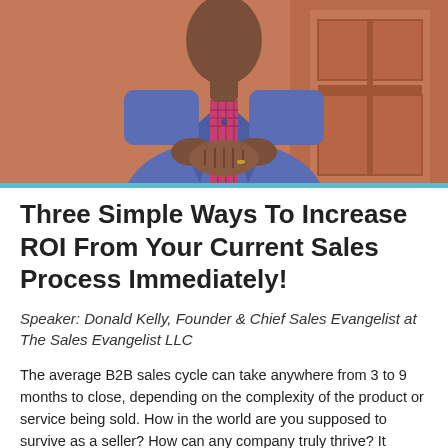[Figure (photo): A man in a blue suit and pink checked shirt standing with hands clasped in front of an orange/salmon colored door and brick building exterior.]
Three Simple Ways To Increase ROI From Your Current Sales Process Immediately!
Speaker: Donald Kelly, Founder & Chief Sales Evangelist at The Sales Evangelist LLC
The average B2B sales cycle can take anywhere from 3 to 9 months to close, depending on the complexity of the product or service being sold. How in the world are you supposed to survive as a seller? How can any company truly thrive? It seems impossible. but is it? Join Donald Kelly, The Sales Evangelist, Founder and CEO of The Sales Evangelist Sal...